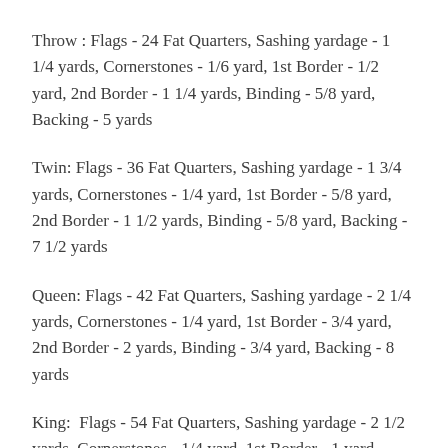Throw : Flags - 24 Fat Quarters, Sashing yardage - 1 1/4 yards, Cornerstones - 1/6 yard, 1st Border - 1/2 yard, 2nd Border - 1 1/4 yards, Binding - 5/8 yard, Backing - 5 yards
Twin: Flags - 36 Fat Quarters, Sashing yardage - 1 3/4 yards, Cornerstones - 1/4 yard, 1st Border - 5/8 yard, 2nd Border - 1 1/2 yards, Binding - 5/8 yard, Backing - 7 1/2 yards
Queen: Flags - 42 Fat Quarters, Sashing yardage - 2 1/4 yards, Cornerstones - 1/4 yard, 1st Border - 3/4 yard, 2nd Border - 2 yards, Binding - 3/4 yard, Backing - 8 yards
King: Flags - 54 Fat Quarters, Sashing yardage - 2 1/2 yards, Cornerstones - 1/4 yard, 1st Border - 1 yard